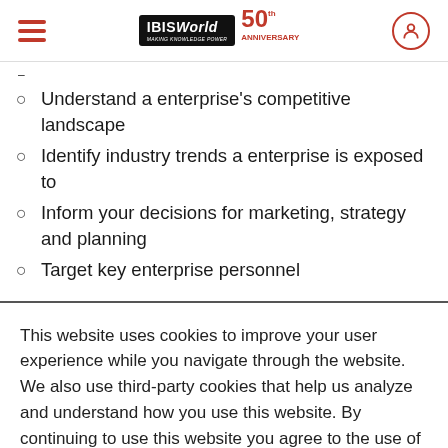IBISWorld 50th Anniversary
Understand a enterprise's competitive landscape
Identify industry trends a enterprise is exposed to
Inform your decisions for marketing, strategy and planning
Target key enterprise personnel
This website uses cookies to improve your user experience while you navigate through the website. We also use third-party cookies that help us analyze and understand how you use this website. By continuing to use this website you agree to the use of these technologies. LEARN MORE
ACCEPT